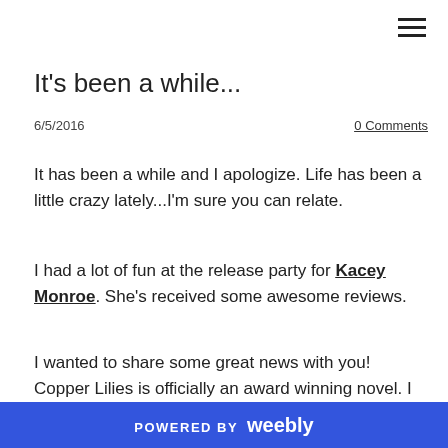[Figure (other): Hamburger menu icon (three horizontal lines) in the top right corner]
It's been a while...
6/5/2016
0 Comments
It has been a while and I apologize. Life has been a little crazy lately...I'm sure you can relate.
I had a lot of fun at the release party for Kacey Monroe. She's received some awesome reviews.
I wanted to share some great news with you! Copper Lilies is officially an award winning novel. I received the news and an excellent review.
POWERED BY weebly